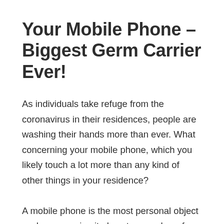Your Mobile Phone – Biggest Germ Carrier Ever!
As individuals take refuge from the coronavirus in their residences, people are washing their hands more than ever. What concerning your mobile phone, which you likely touch a lot more than any kind of other things in your residence?
A mobile phone is the most personal object we have carrying it almost everywhere from the grocery store to shower rooms. More importantly, mobile phones are known to carry more bacteria than one would certainly imagine. Studies have actually found it to be dirtier than toilet bowls